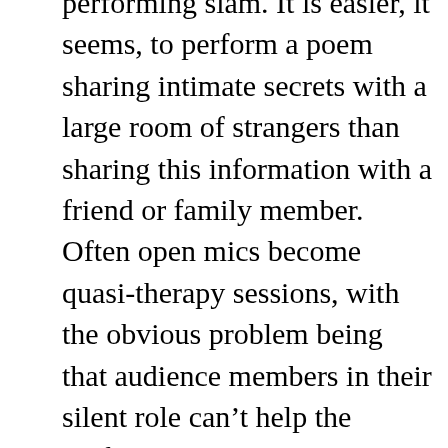performing slam. It is easier, it seems, to perform a poem sharing intimate secrets with a large room of strangers than sharing this information with a friend or family member. Often open mics become quasi-therapy sessions, with the obvious problem being that audience members in their silent role can't help the performer work through the issues being shared. Sometimes, though, the very act of performing confessional poetry seems to help: once an issue has been aired in a poem, sometimes that act helps the poet to heal. But what happens when the story in a poem involves others who may not be ready to have their story told?
Most of the poems I perform publicly are revealing not only about myself but about others. It is difficult to write a love poem that does not reveal intimate details about the lover's life, character, and faults. I have made every effort to be transparent with my partners about my writing and check with them before performing poems that concern